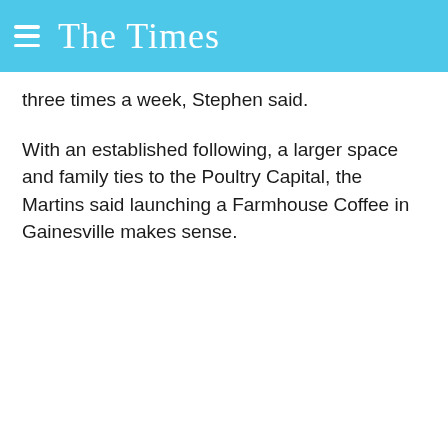The Times
three times a week, Stephen said.
With an established following, a larger space and family ties to the Poultry Capital, the Martins said launching a Farmhouse Coffee in Gainesville makes sense.